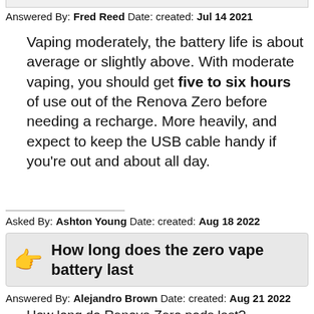Answered By: Fred Reed Date: created: Jul 14 2021
Vaping moderately, the battery life is about average or slightly above. With moderate vaping, you should get five to six hours of use out of the Renova Zero before needing a recharge. More heavily, and expect to keep the USB cable handy if you're out and about all day.
Asked By: Ashton Young Date: created: Aug 18 2022
How long does the zero vape battery last
Answered By: Alejandro Brown Date: created: Aug 21 2022
How long do Renova Zero pods last?